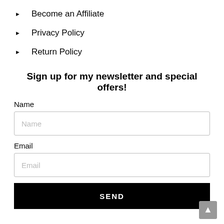Become an Affiliate
Privacy Policy
Return Policy
Sign up for my newsletter and special offers!
Name
Email
SEND